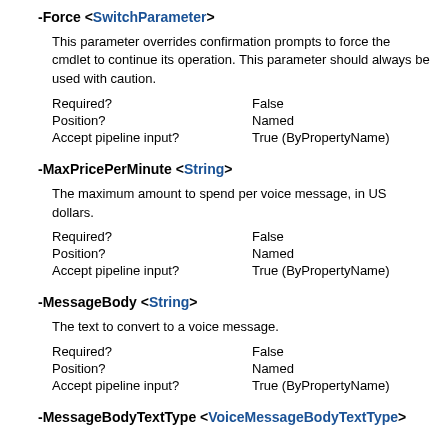-Force <SwitchParameter>
This parameter overrides confirmation prompts to force the cmdlet to continue its operation. This parameter should always be used with caution.
| Required? | False |
| Position? | Named |
| Accept pipeline input? | True (ByPropertyName) |
-MaxPricePerMinute <String>
The maximum amount to spend per voice message, in US dollars.
| Required? | False |
| Position? | Named |
| Accept pipeline input? | True (ByPropertyName) |
-MessageBody <String>
The text to convert to a voice message.
| Required? | False |
| Position? | Named |
| Accept pipeline input? | True (ByPropertyName) |
-MessageBodyTextType <VoiceMessageBodyTextType>